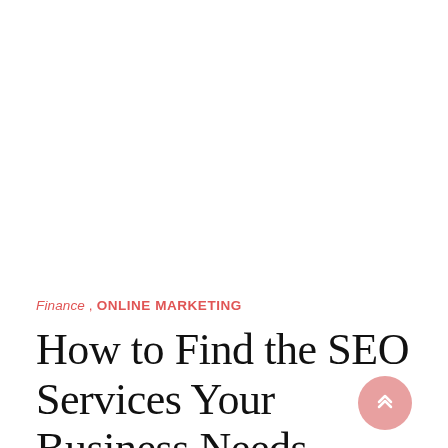Finance , ONLINE MARKETING
How to Find the SEO Services Your Business Needs